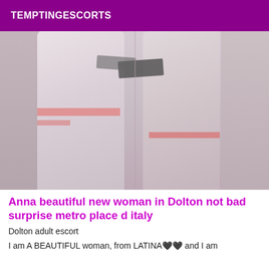TEMPTINGESCORTS
[Figure (photo): Photo of a woman from waist down wearing white/light grey athletic pants with pink/red and black stripe accents, leaning against a light-colored couch or surface]
Anna beautiful new woman in Dolton not bad surprise metro place d italy
Dolton adult escort
I am A BEAUTIFUL woman, from LATINA🖤🖤 and I am